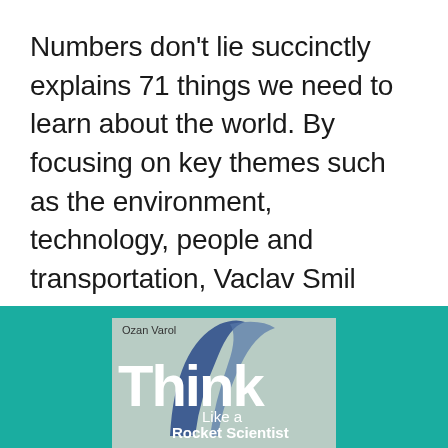Numbers don't lie succinctly explains 71 things we need to learn about the world. By focusing on key themes such as the environment, technology, people and transportation, Vaclav Smil helps us see that whilst numbers may not lie, the truth they convey can be misunderstood.
[Figure (illustration): Book cover of 'Think Like a Rocket Scientist' by Ozan Varol, shown against a teal/turquoise background. The book cover features a light grey-green background with the word 'Think' in large bold white letters, a blue swoosh/arc design, and the subtitle 'Like a Rocket Scientist' in white. Below shows 'Simple Strategies for Giant Leaps'.]